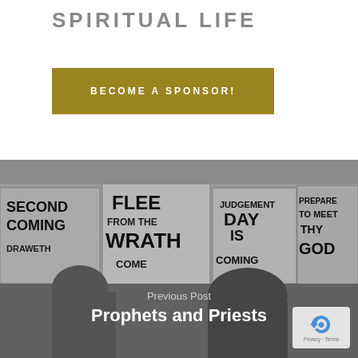SPIRITUAL LIFE
BECOME A SPONSOR!
[Figure (photo): Black and white photograph of people at a protest or street preaching event, holding signs reading 'SECOND COMING', 'FLEE FROM THE WRATH COME', 'JUDGEMENT DAY IS COMING', 'PREPARE TO MEET THY GOD', and other religious warning messages. A woman in sunglasses and a man in a dark jacket are visible in the foreground.]
Previous Post
Prophets and Priests